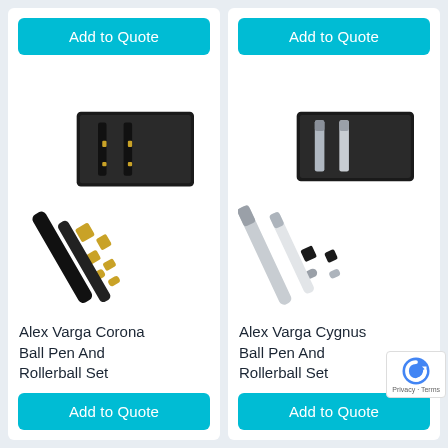[Figure (photo): Alex Varga Corona Ball Pen And Rollerball Set - two black pens with gold accents in a black box]
Alex Varga Corona Ball Pen And Rollerball Set
[Figure (photo): Alex Varga Cygnus Ball Pen And Rollerball Set - two silver/chrome pens in a black box]
Alex Varga Cygnus Ball Pen And Rollerball Set